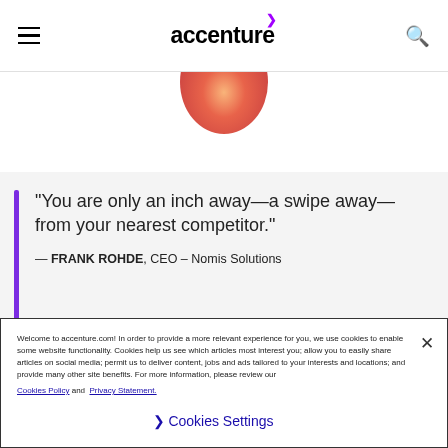accenture
[Figure (photo): Partial view of a peach or similar round fruit against a white background]
"You are only an inch away—a swipe away—from your nearest competitor." — FRANK ROHDE, CEO – Nomis Solutions
Accenture and Nomis capabilities
Welcome to accenture.com! In order to provide a more relevant experience for you, we use cookies to enable some website functionality. Cookies help us see which articles most interest you; allow you to easily share articles on social media; permit us to deliver content, jobs and ads tailored to your interests and locations; and provide many other site benefits. For more information, please review our Cookies Policy and Privacy Statement.
❯ Cookies Settings